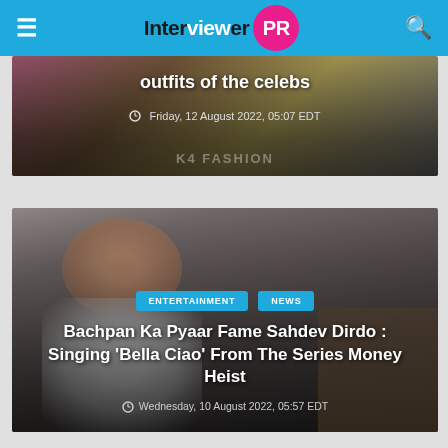Interviewer PR
[Figure (photo): Partial view of a fashion article card showing outfits of the celebs text with a date Friday, 12 August 2022, 05:07 EDT over a fashion image with K4 Fashion branding]
outfits of the celebs
Friday, 12 August 2022, 05:07 EDT
[Figure (photo): Card showing Sahdev Dirdo seated on a couch, wearing a white t-shirt with suspenders, with ENTERTAINMENT and NEWS tags and article title overlaid]
ENTERTAINMENT
NEWS
Bachpan Ka Pyaar Fame Sahdev Dirdo : Singing ‘Bella Ciao’ From The Series Money Heist
Wednesday, 10 August 2022, 05:57 EDT